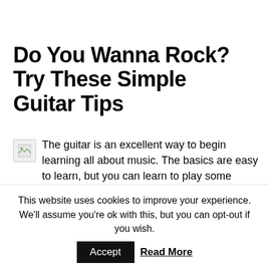Do You Wanna Rock? Try These Simple Guitar Tips
The guitar is an excellent way to begin learning all about music. The basics are easy to learn, but you can learn to play some really complex songs. Want to give it a shot? This post is a smart place to begin.
Start slowly, don't try to absorb everything at once. Go
This website uses cookies to improve your experience. We'll assume you're ok with this, but you can opt-out if you wish.